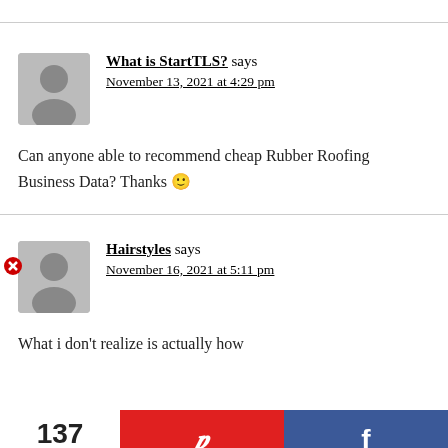What is StartTLS? says
November 13, 2021 at 4:29 pm
Can anyone able to recommend cheap Rubber Roofing Business Data? Thanks 🙂
Hairstyles says
November 16, 2021 at 5:11 pm
What i don't realize is actually how
137 SHARES | Pinterest share | Facebook share